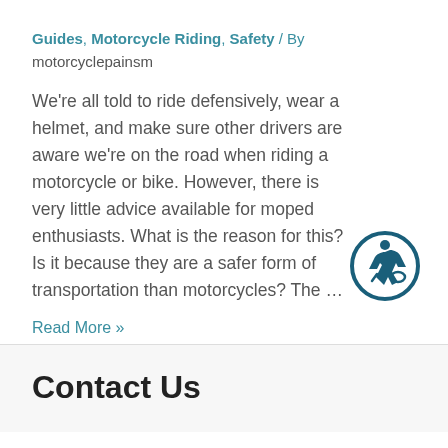Guides, Motorcycle Riding, Safety / By motorcyclepainsm
We're all told to ride defensively, wear a helmet, and make sure other drivers are aware we're on the road when riding a motorcycle or bike. However, there is very little advice available for moped enthusiasts. What is the reason for this? Is it because they are a safer form of transportation than motorcycles? The …
[Figure (illustration): Accessibility icon showing a person on a motorized vehicle inside a circle, navy blue border]
Read More »
1   2   …   7   Next Page →
Contact Us